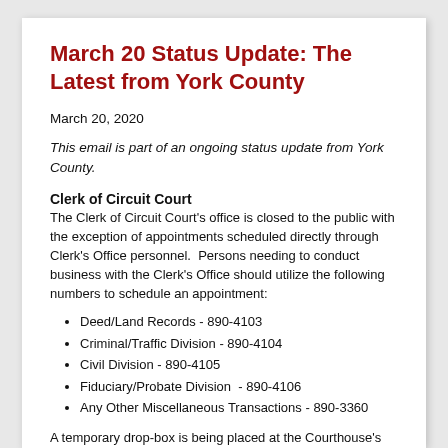March 20 Status Update: The Latest from York County
March 20, 2020
This email is part of an ongoing status update from York County.
Clerk of Circuit Court
The Clerk of Circuit Court's office is closed to the public with the exception of appointments scheduled directly through Clerk's Office personnel.  Persons needing to conduct business with the Clerk's Office should utilize the following numbers to schedule an appointment:
Deed/Land Records - 890-4103
Criminal/Traffic Division - 890-4104
Civil Division - 890-4105
Fiduciary/Probate Division  - 890-4106
Any Other Miscellaneous Transactions - 890-3360
A temporary drop-box is being placed at the Courthouse's front door security station for submitting civil and criminal paperwork